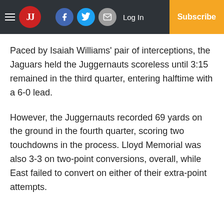JJ — Log In | Subscribe (navigation bar with social icons)
Paced by Isaiah Williams' pair of interceptions, the Jaguars held the Juggernauts scoreless until 3:15 remained in the third quarter, entering halftime with a 6-0 lead.
However, the Juggernauts recorded 69 yards on the ground in the fourth quarter, scoring two touchdowns in the process. Lloyd Memorial was also 3-3 on two-point conversions, overall, while East failed to convert on either of their extra-point attempts.